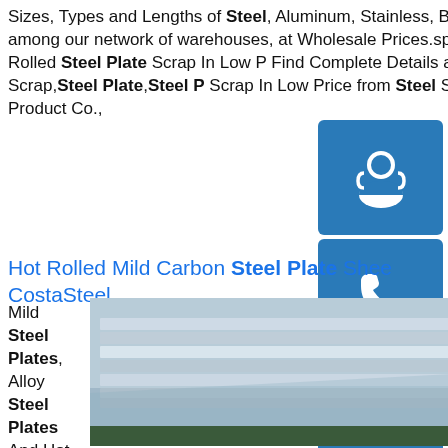Sizes, Types and Lengths of Steel, Aluminum, Stainless, Brass, Copper, Cold Finish Steel, Tool Steel and Alloy Steels among our network of warehouses, at Wholesale Prices.sp.info Hot Rolled Steel Plate Scrap In Low Buy Steel ...Hot Rolled Steel Plate Scrap In Low P Find Complete Details about Hot Rolled Steel Plate Scrap In Low Price,Steel Plate Scrap,Steel Plate,Steel P Scrap In Low Price from Steel Sheets Supplier or Manufacturer-Shanghai Juqing Metal Product Co.,
[Figure (illustration): Blue sidebar button with headset/customer service icon]
[Figure (illustration): Blue sidebar button with phone icon]
[Figure (illustration): Blue sidebar button with Skype icon]
Hot Rolled Mild Carbon Steel Plate Sheet CostaSteel
Mild Steel Plates, Alloy Steel Plates And Hot Rolled Coils. Mild Steel Plates - Dmson"s Metal Private Limited importer, stockiest and dealer of mild steel plates, alloy steel plates, hot rolled
[Figure (photo): Photo of stacked steel plates with reflective surface, green rack visible at bottom]